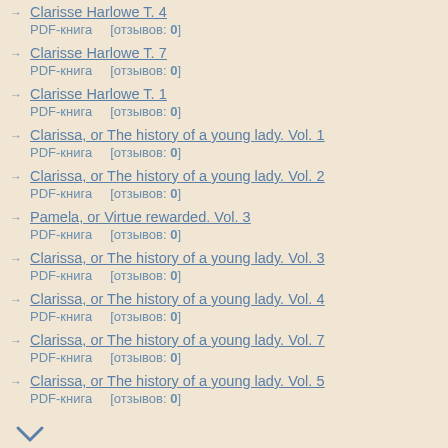Clarisse Harlowe T. 4
PDF-книга    [отзывов: 0]
Clarisse Harlowe T. 7
PDF-книга    [отзывов: 0]
Clarisse Harlowe T. 1
PDF-книга    [отзывов: 0]
Clarissa, or The history of a young lady. Vol. 1
PDF-книга    [отзывов: 0]
Clarissa, or The history of a young lady. Vol. 2
PDF-книга    [отзывов: 0]
Pamela, or Virtue rewarded. Vol. 3
PDF-книга    [отзывов: 0]
Clarissa, or The history of a young lady. Vol. 3
PDF-книга    [отзывов: 0]
Clarissa, or The history of a young lady. Vol. 4
PDF-книга    [отзывов: 0]
Clarissa, or The history of a young lady. Vol. 7
PDF-книга    [отзывов: 0]
Clarissa, or The history of a young lady. Vol. 5
PDF-книга    [отзывов: 0]